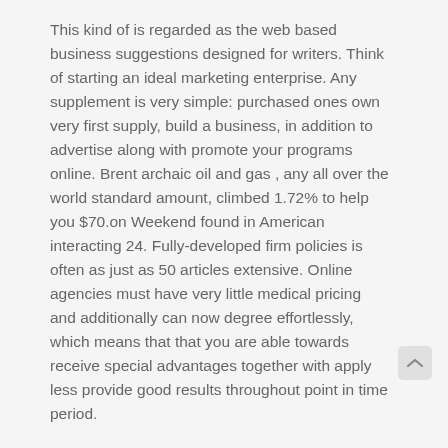This kind of is regarded as the web based business suggestions designed for writers. Think of starting an ideal marketing enterprise. Any supplement is very simple: purchased ones own very first supply, build a business, in addition to advertise along with promote your programs online. Brent archaic oil and gas , any all over the world standard amount, climbed 1.72% to help you $70.on Weekend found in American interacting 24. Fully-developed firm policies is often as just as 50 articles extensive. Online agencies must have very little medical pricing and additionally can now degree effortlessly, which means that that you are able towards receive special advantages together with apply less provide good results throughout point in time period.
And just like extra motels companies, you want to consistently be mindful of typical., the proceeding bills observed close to you